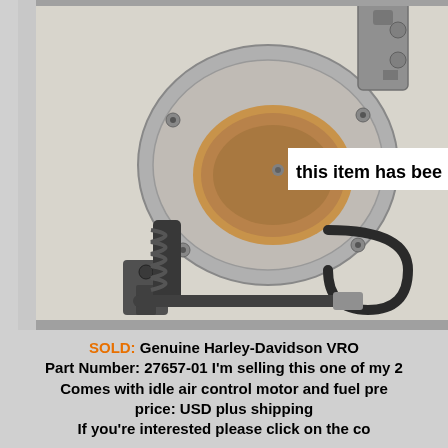[Figure (photo): Photo of a Genuine Harley-Davidson VRSC throttle body mechanical part (Part Number 27657-01) showing aluminum throttle body with spring, idle air control motor and fuel pressure components, displayed on a light background. A white overlay banner reads 'this item has bee' (partially visible).]
SOLD: Genuine Harley-Davidson VRO... Part Number: 27657-01 I'm selling this one of my 2... Comes with idle air control motor and fuel pre... price: USD plus shipping... If you're interested please click on the co...